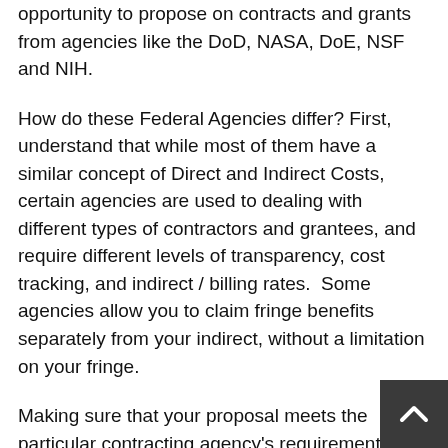opportunity to propose on contracts and grants from agencies like the DoD, NASA, DoE, NSF and NIH.
How do these Federal Agencies differ? First, understand that while most of them have a similar concept of Direct and Indirect Costs, certain agencies are used to dealing with different types of contractors and grantees, and require different levels of transparency, cost tracking, and indirect / billing rates.  Some agencies allow you to claim fringe benefits separately from your indirect, without a limitation on your fringe.
Making sure that your proposal meets the particular contracting agency's requirements is critical to your success. After all; a company can have a great idea, or write a great technical